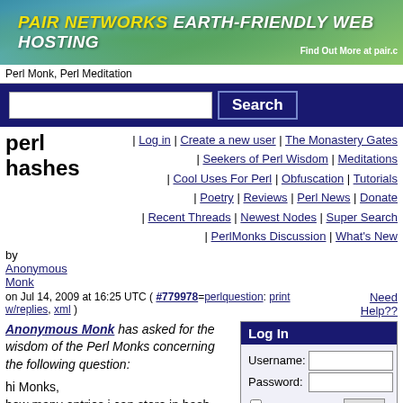[Figure (illustration): Pair Networks Earth-Friendly Web Hosting banner with leaf background]
Perl Monk, Perl Meditation
Search bar with text input and Search button
perl hashes
| Log in | Create a new user | The Monastery Gates | Seekers of Perl Wisdom | Meditations | Cool Uses For Perl | Obfuscation | Tutorials | Poetry | Reviews | Perl News | Donate | Recent Threads | Newest Nodes | Super Search | PerlMonks Discussion | What's New
by Anonymous Monk
on Jul 14, 2009 at 16:25 UTC ( #779978=perlquestion: print w/replies, xml )
Need Help??
Anonymous Monk has asked for the wisdom of the Perl Monks concerning the following question:
hi Monks,
how many entries i can store in hash table.
what is the performance if i store the more than 50 thousand records
Log In
Username: [input] Password: [input] remember me [Login button] What's my password? Create A New User
Domain Nodelet